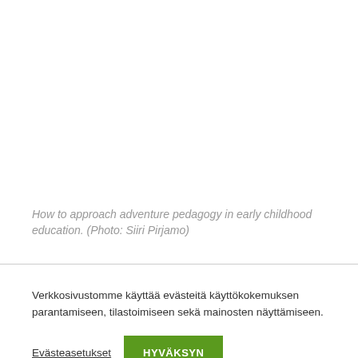How to approach adventure pedagogy in early childhood education. (Photo: Siiri Pirjamo)
Verkkosivustomme käyttää evästeitä käyttökokemuksen parantamiseen, tilastoimiseen sekä mainosten näyttämiseen.
Evästeasetukset
HYVÄKSYN